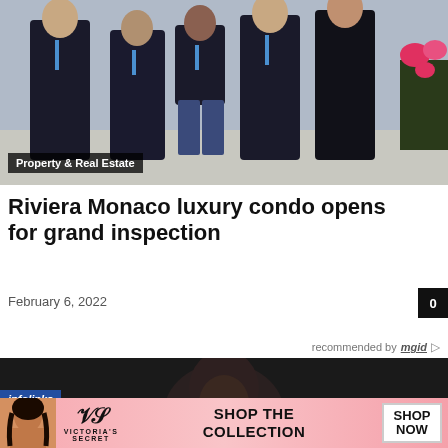[Figure (photo): Group of people walking outdoors wearing dark clothing, event or real estate inspection context]
Property & Real Estate
Riviera Monaco luxury condo opens for grand inspection
February 6, 2022
0
recommended by mgid
[Figure (photo): Dark portrait photo of a person, partially visible]
infolinks
[Figure (photo): Victoria's Secret advertisement banner showing a model, VS logo, 'SHOP THE COLLECTION' text, and a 'SHOP NOW' button]